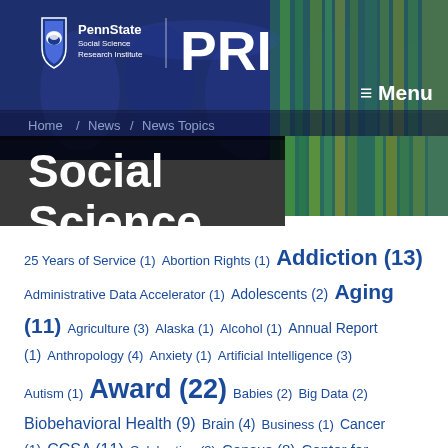[Figure (logo): PennState Social Science Research Institute PRI logo with shield on blue background]
≡ Menu
Home / News / News Topics
Social Science
25 Years of Service (1)
Abortion Rights (1)
Addiction (13)
Administrative Data Accelerator (1)
Adolescents (2)
Aging (11)
Agriculture (3)
Alaska (1)
Alcohol (1)
Annual Report (1)
Anthropology (4)
Anxiety (1)
Artificial Intelligence (3)
Autism (1)
Award (22)
Babies (2)
Big Data (2)
Biobehavioral Health (9)
Brain (4)
Business (1)
Cancer (1)
CCSA (11)
Celebration (3)
Census (8)
Center for Education and Civil Rights (6)
Center for Educational Disparities (26)
Center for Security